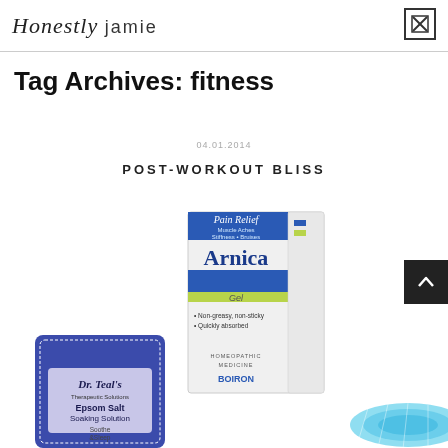Honestly jamie
Tag Archives: fitness
04.01.2014
POST-WORKOUT BLISS
[Figure (photo): Dr. Teal's Epsom Salt Soaking Solution – Soothe & Sleep package (blue/purple bag)]
[Figure (photo): Boiron Arnica Gel – Pain Relief for Muscle Aches, Stiffness, Bruises. Non-greasy, non-sticky, quickly absorbed. Homeopathic Medicine.]
[Figure (photo): Blue foam roller, partially visible at bottom right]